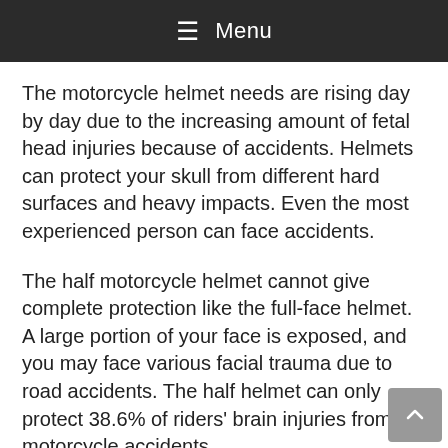Menu
The motorcycle helmet needs are rising day by day due to the increasing amount of fetal head injuries because of accidents. Helmets can protect your skull from different hard surfaces and heavy impacts. Even the most experienced person can face accidents.
The half motorcycle helmet cannot give complete protection like the full-face helmet. A large portion of your face is exposed, and you may face various facial trauma due to road accidents. The half helmet can only protect 38.6% of riders' brain injuries from motorcycle accidents